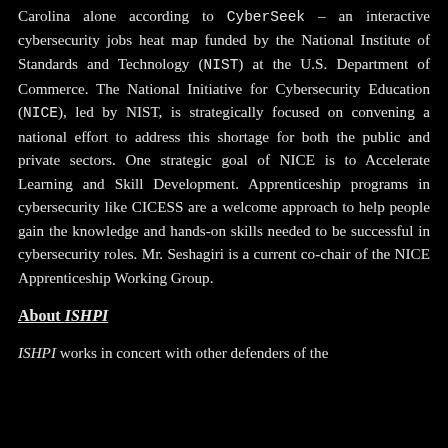Carolina alone according to CyberSeek – an interactive cybersecurity jobs heat map funded by the National Institute of Standards and Technology (NIST) at the U.S. Department of Commerce. The National Initiative for Cybersecurity Education (NICE), led by NIST, is strategically focused on convening a national effort to address this shortage for both the public and private sectors. One strategic goal of NICE is to Accelerate Learning and Skill Development. Apprenticeship programs in cybersecurity like CICESS are a welcome approach to help people gain the knowledge and hands-on skills needed to be successful in cybersecurity roles. Mr. Seshagiri is a current co-chair of the NICE Apprenticeship Working Group.
About ISHPI
ISHPI works in concert with other defenders of the